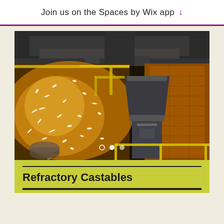Join us on the Spaces by Wix app
[Figure (photo): Industrial furnace or steelwork environment with bright sparks/molten material flying, metal machinery structures visible, yellow safety railings, dark overhead beams. Carousel image with three navigation dots visible at bottom.]
Refractory Castables